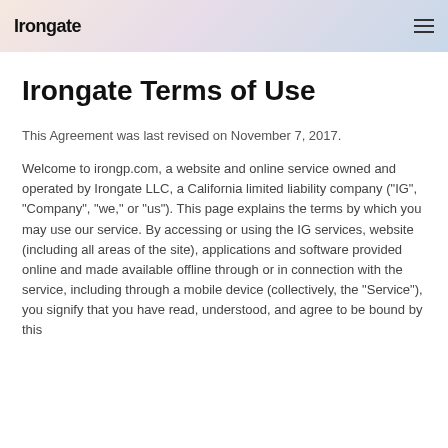Irongate
Irongate Terms of Use
This Agreement was last revised on November 7, 2017.
Welcome to irongp.com, a website and online service owned and operated by Irongate LLC, a California limited liability company ("IG", "Company", "we," or "us"). This page explains the terms by which you may use our service. By accessing or using the IG services, website (including all areas of the site), applications and software provided online and made available offline through or in connection with the service, including through a mobile device (collectively, the "Service"), you signify that you have read, understood, and agree to be bound by this